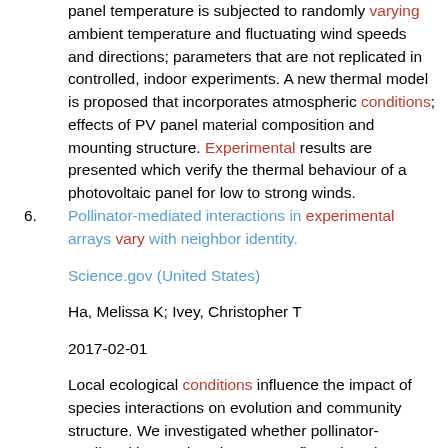panel temperature is subjected to randomly varying ambient temperature and fluctuating wind speeds and directions; parameters that are not replicated in controlled, indoor experiments. A new thermal model is proposed that incorporates atmospheric conditions; effects of PV panel material composition and mounting structure. Experimental results are presented which verify the thermal behaviour of a photovoltaic panel for low to strong winds.
6. Pollinator-mediated interactions in experimental arrays vary with neighbor identity.

Science.gov (United States)

Ha, Melissa K; Ivey, Christopher T

2017-02-01

Local ecological conditions influence the impact of species interactions on evolution and community structure. We investigated whether pollinator-mediated interactions between coflowering plants vary with plant density, coflowering neighbor identity, and flowering season. We conducted a field experiment in which flowering time and floral neighborhood were